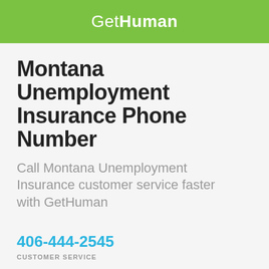GetHuman
Montana Unemployment Insurance Phone Number
Call Montana Unemployment Insurance customer service faster with GetHuman
406-444-2545
CUSTOMER SERVICE
Current Wait: 153 mins (116m avg)